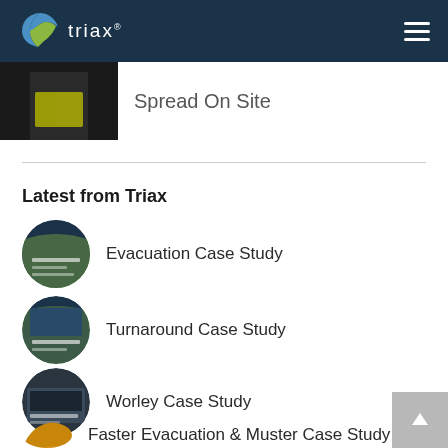triax
Spread On Site
Latest from Triax
Evacuation Case Study
Turnaround Case Study
Worley Case Study
Faster Evacuation & Muster Case Study